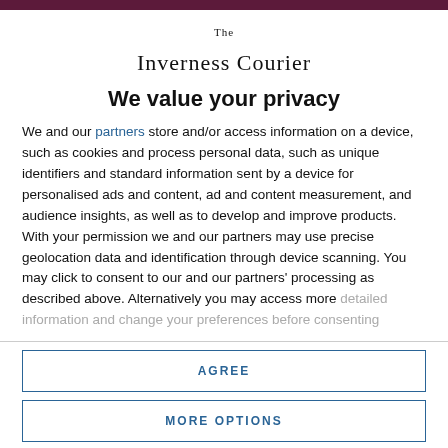[Figure (logo): The Inverness Courier masthead logo in blackletter/gothic font]
We value your privacy
We and our partners store and/or access information on a device, such as cookies and process personal data, such as unique identifiers and standard information sent by a device for personalised ads and content, ad and content measurement, and audience insights, as well as to develop and improve products. With your permission we and our partners may use precise geolocation data and identification through device scanning. You may click to consent to our and our partners' processing as described above. Alternatively you may access more detailed information and change your preferences before consenting
AGREE
MORE OPTIONS
Royal Navy warship shadows Russian